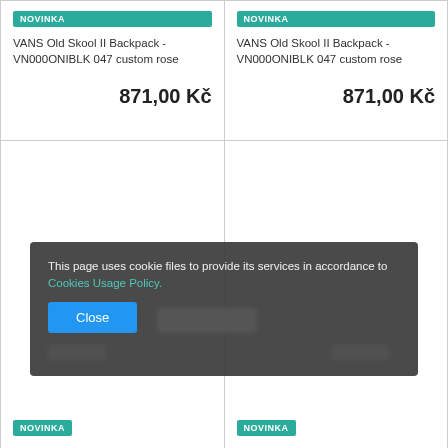NOVINKA
VANS Old Skool II Backpack - VN000ONIBLK 047 custom rose
871,00 Kč
NOVINKA
VANS Old Skool II Backpack - VN000ONIBLK 047 custom rose
871,00 Kč
NOVINKA
NOVINKA
This page uses cookie files to provide its services in accordance to Cookies Usage Policy.
Close